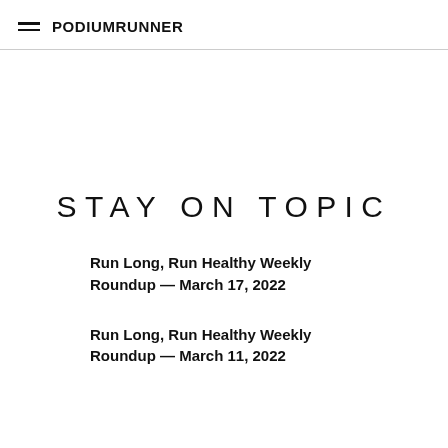PodiumRunner
STAY ON TOPIC
Run Long, Run Healthy Weekly Roundup — March 17, 2022
Run Long, Run Healthy Weekly Roundup — March 11, 2022